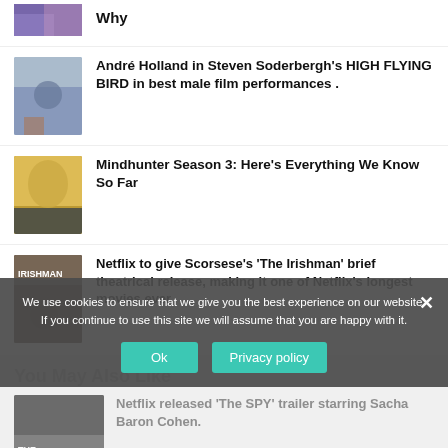[Figure (photo): Partial thumbnail of an article image at top]
Why
[Figure (photo): Thumbnail showing André Holland in High Flying Bird]
André Holland in Steven Soderbergh's HIGH FLYING BIRD in best male film performances .
[Figure (photo): Thumbnail showing a scene from Mindhunter]
Mindhunter Season 3: Here's Everything We Know So Far
[Figure (photo): Thumbnail with IRISHMAN text visible]
Netflix to give Scorsese's 'The Irishman' brief theatrical release, making it one of Netflix's longest movies ever
You May Also Like
[Figure (photo): Thumbnail for Netflix The Spy article]
Netflix released 'The SPY' trailer starring Sacha Baron Cohen.
We use cookies to ensure that we give you the best experience on our website. If you continue to use this site we will assume that you are happy with it.